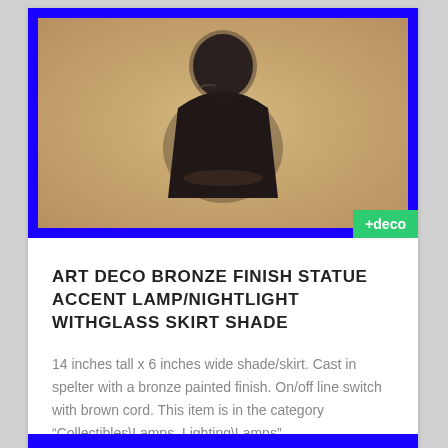[Figure (photo): Photo of an Art Deco bronze finish statue accent lamp with a blue border frame. The statue is dark/bronze colored against a warm beige/tan background. A green '+deco' badge appears in the bottom-right corner of the image.]
ART DECO BRONZE FINISH STATUE ACCENT LAMP/NIGHTLIGHT WithGLASS SKIRT SHADE
14 inches tall x 6 inches wide shade/skirt. Cast in spelter with a bronze painted finish. On/off line switch with brown cord. This item is in the category “Collectibles\Lamps, Lighting\Lamps”....